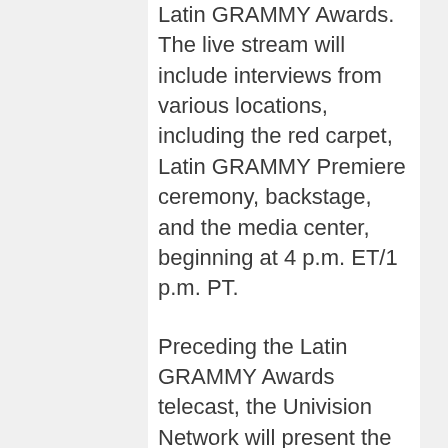Latin GRAMMY Awards. The live stream will include interviews from various locations, including the red carpet, Latin GRAMMY Premiere ceremony, backstage, and the media center, beginning at 4 p.m. ET/1 p.m. PT.
Preceding the Latin GRAMMY Awards telecast, the Univision Network will present the exclusive “Noche de Estrellas” (“Night of Stars”) coverage of celebrity arrivals direct from the Latin GRAMMY red carpet, starting at 7 p.m. ET/PT (6 p.m. Central). “Noche de Estrellas” will feature live interviews and